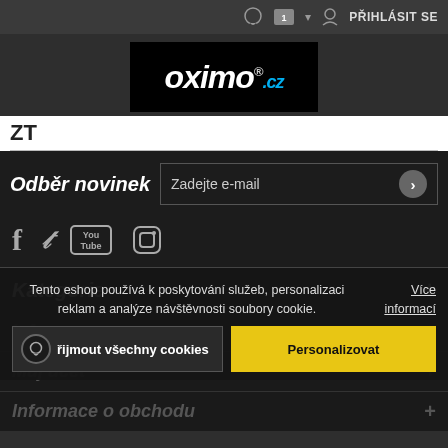PŘIHLÁSIT SE
[Figure (logo): OXIMO.cz logo on black background]
ZT
Odběr novinek
Zadejte e-mail
[Figure (infographic): Social media icons: Facebook, Twitter, YouTube, Instagram]
Kategorie
Informace
Můj účet
Informace o obchodu
Tento eshop používá k poskytování služeb, personalizaci reklam a analýze návštěvnosti soubory cookie.
Více informací
Přijmout všechny cookies
Personalizovat